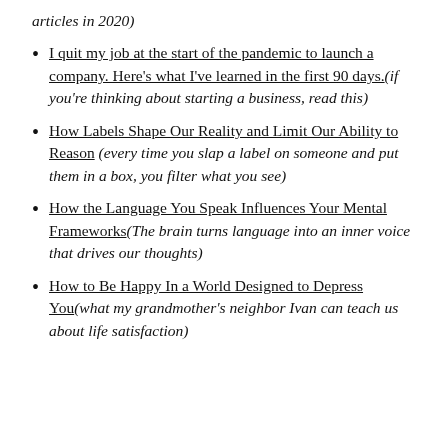articles in 2020)
I quit my job at the start of the pandemic to launch a company. Here's what I've learned in the first 90 days.(if you're thinking about starting a business, read this)
How Labels Shape Our Reality and Limit Our Ability to Reason (every time you slap a label on someone and put them in a box, you filter what you see)
How the Language You Speak Influences Your Mental Frameworks(The brain turns language into an inner voice that drives our thoughts)
How to Be Happy In a World Designed to Depress You(what my grandmother's neighbor Ivan can teach us about life satisfaction)